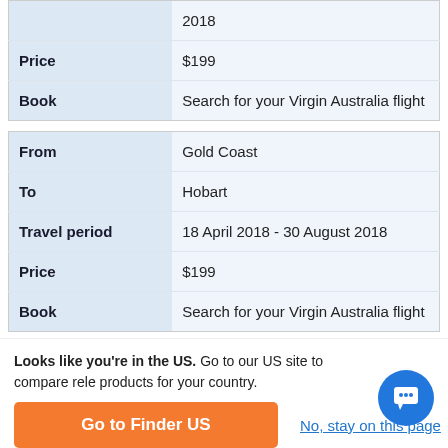|  | 2018 |
| Price | $199 |
| Book | Search for your Virgin Australia flight |
| From | Gold Coast |
| To | Hobart |
| Travel period | 18 April 2018 - 30 August 2018 |
| Price | $199 |
| Book | Search for your Virgin Australia flight |
| From | Hamilton Island |
| To | Newcastle |
Looks like you're in the US. Go to our US site to compare rele products for your country.
Go to Finder US
No, stay on this page